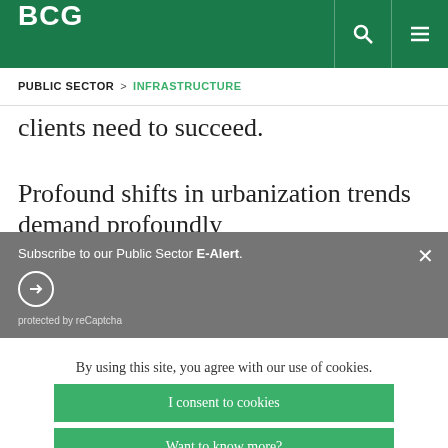BCG
PUBLIC SECTOR  >  INFRASTRUCTURE
clients need to succeed.
Profound shifts in urbanization trends demand profoundly
Subscribe to our Public Sector E-Alert.
protected by reCaptcha
By using this site, you agree with our use of cookies.
I consent to cookies
Want to know more?
Read our Cookie Policy